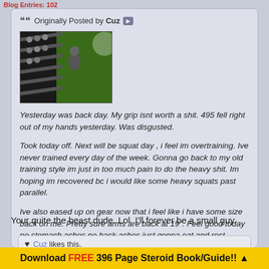Blog Entries: 102
[Figure (screenshot): Forum quote box from user 'Cuz' containing a gym/weights image and text about back day training]
Yesterday was back day. My grip isnt worth a shit. 495 fell right out of my hands yesterday. Was disgusted.

Took today off. Next will be squat day , i feel im overtraining. Ive never trained every day of the week. Gonna go back to my old training style im just in too much pain to do the heavy shit. Im hoping im recovered bc i would like some heavy squats past parallel.

Ive also eased up on gear now that i feel like i have some size back on me. Pretty sure arms are back at 19". Feel good today no stomach aches no back aches just gonna eat and rest.
Your quite the beast dude. Lol. I'll forever be a small guy.
Cuz likes this.
Download FREE 396 Page Steroid Book/Guide!!